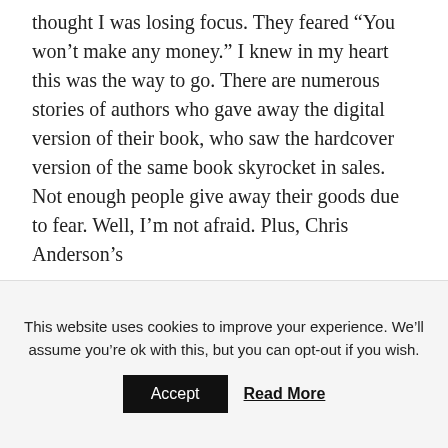thought I was losing focus. They feared “You won’t make any money.” I knew in my heart this was the way to go. There are numerous stories of authors who gave away the digital version of their book, who saw the hardcover version of the same book skyrocket in sales. Not enough people give away their goods due to fear. Well, I’m not afraid. Plus, Chris Anderson’s
This website uses cookies to improve your experience. We’ll assume you’re ok with this, but you can opt-out if you wish.
Accept
Read More